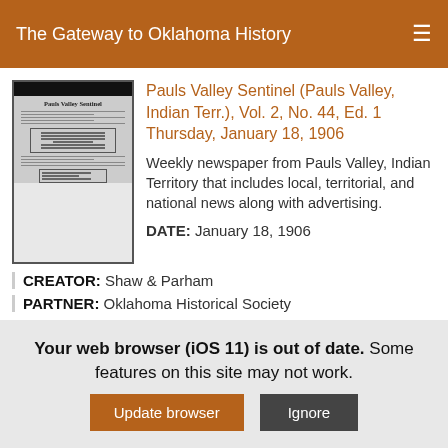The Gateway to Oklahoma History
Pauls Valley Sentinel (Pauls Valley, Indian Terr.), Vol. 2, No. 44, Ed. 1 Thursday, January 18, 1906
[Figure (photo): Thumbnail image of the Pauls Valley Sentinel newspaper front page, showing masthead and columns of text]
Weekly newspaper from Pauls Valley, Indian Territory that includes local, territorial, and national news along with advertising.
DATE: January 18, 1906
CREATOR: Shaw & Parham
PARTNER: Oklahoma Historical Society
Your web browser (iOS 11) is out of date. Some features on this site may not work.